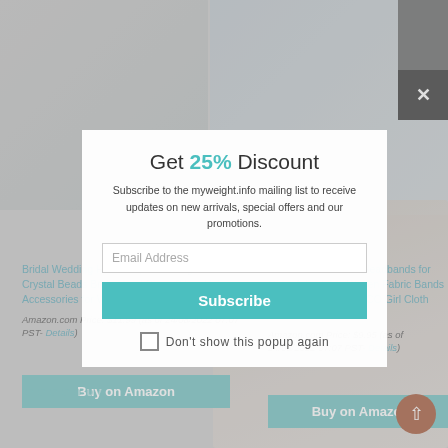[Figure (screenshot): Website page with product listings for hair accessories and a popup newsletter subscription modal overlay. Left product: Bridal Wedding Hair Vine with pearl and crystal beads. Right product: FROG SAC 5 Boho Headbands. A woman with curly hair appears on the right background. Popup offers 25% discount for subscribing to myweight.info mailing list.]
Get 25% Discount
Subscribe to the myweight.info mailing list to receive updates on new arrivals, special offers and our promotions.
Email Address
Subscribe
Bridal Wedding Hair Vine,Extra Long Pearl and Crystal Beads Bride Head Piece,Silver Hair Accessories for Women and Girls...
Amazon.com Price: $11.99 (as of 24/08/2022 07:07 PST- Details)
Buy on Amazon
FROG SAC 5 Boho Headbands for Girls, Adjustable Woven Fabric Bands for Kids, Non Slip VSCO Girl Cloth Headband fo...
Amazon.com Price: $9.95 (as of 24/08/2022 07:07 PST- Details)
Buy on Amazon
Don't show this popup again